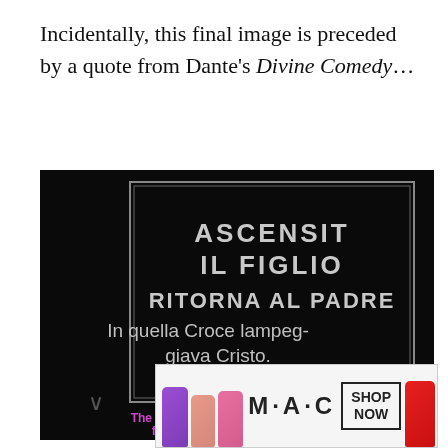Incidentally, this final image is preceded by a quote from Dante's Divine Comedy…
[Figure (screenshot): Black intertitle card with white text reading: ASCENSIT IL FIGLIO RITORNA AL PADRE / In quella Croce lampeg-giava Cristo. / (Dante). Below in magenta/pink text: Ascent / The Son Returns to the Father. Christ flashed forth upon The Cross.]
[Figure (advertisement): MAC cosmetics advertisement showing lipsticks in purple, pink, and red shades with MAC logo and SHOP NOW button]